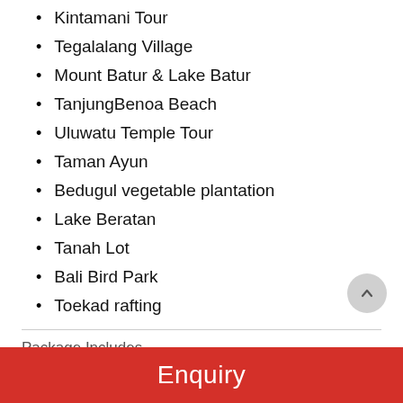Kintamani Tour
Tegalalang Village
Mount Batur & Lake Batur
TanjungBenoa Beach
Uluwatu Temple Tour
Taman Ayun
Bedugul vegetable plantation
Lake Beratan
Tanah Lot
Bali Bird Park
Toekad rafting
Package Includes
06 Nights accommodation
Travel Insurance
Enquiry